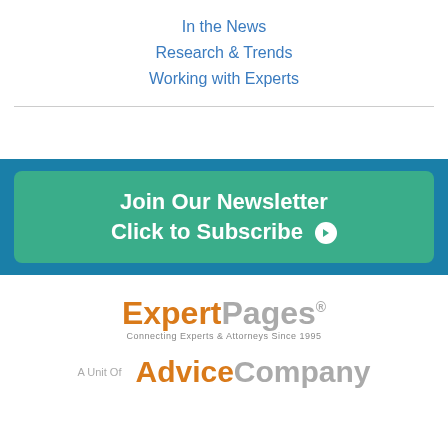In the News
Research & Trends
Working with Experts
[Figure (infographic): Green 'Join Our Newsletter / Click to Subscribe' button inside a blue band]
[Figure (logo): ExpertPages logo with tagline 'Connecting Experts & Attorneys Since 1995']
[Figure (logo): A Unit Of AdviceCompany logo]